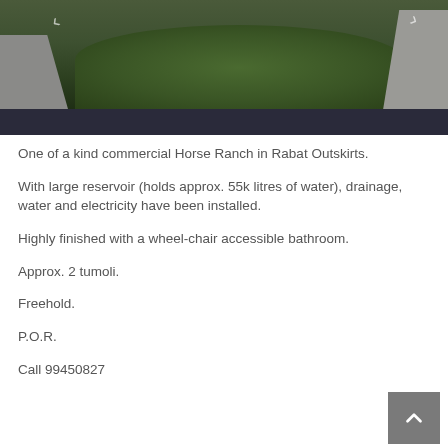[Figure (photo): Outdoor photo of a horse ranch property showing a driveway/paved area on the left, green grass in the center, and a gravel path on the right, with a dark overlay bar at the bottom of the image.]
One of a kind commercial Horse Ranch in Rabat Outskirts.
With large reservoir (holds approx. 55k litres of water), drainage, water and electricity have been installed.
Highly finished with a wheel-chair accessible bathroom.
Approx. 2 tumoli.
Freehold.
P.O.R.
Call 99450827